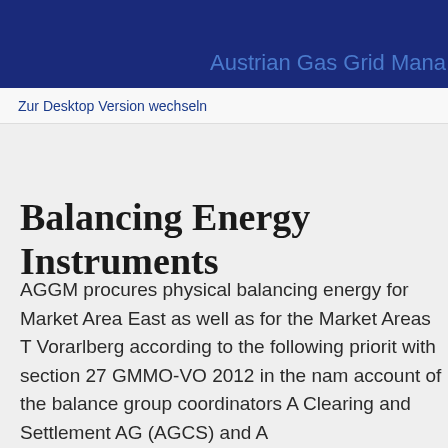Austrian Gas Grid Mana
Zur Desktop Version wechseln
Balancing Energy Instruments
AGGM procures physical balancing energy for Market Area East as well as for the Market Areas Tyrol, Vorarlberg according to the following priority in line with section 27 GMMO-VO 2012 in the name and account of the balance group coordinators A Clearing and Settlement AG (AGCS) and A